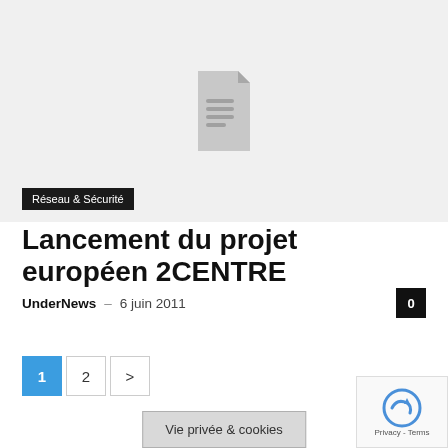[Figure (illustration): Light grey placeholder image area with a document/file icon centered in it]
Réseau & Sécurité
Lancement du projet européen 2CENTRE
UnderNews – 6 juin 2011
0
1 2 >
Vie privée & cookies